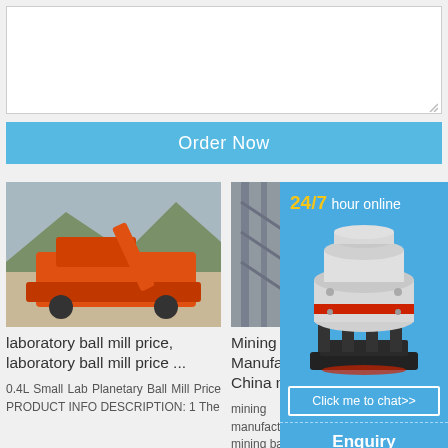[Figure (screenshot): White textarea input box with resize handle in bottom right corner]
Order Now
[Figure (photo): Orange mining/crushing machine (mobile screener/crusher) on a gravel site with mountains in background]
laboratory ball mill price, laboratory ball mill price ...
0.4L Small Lab Planetary Ball Mill Price PRODUCT INFO DESCRIPTION: 1 The
[Figure (photo): Industrial facility/plant with steel structures]
Mining b... Manufac... China m...
mining manufactu... mining ba...
[Figure (screenshot): Advertisement widget: 24/7 hour online, cone crusher machine image, Click me to chat>> button, Enquiry section, limingjlmofen brand]
[Figure (photo): Blue sky with machinery (bottom left)]
[Figure (photo): Dark metallic machinery parts (bottom right)]